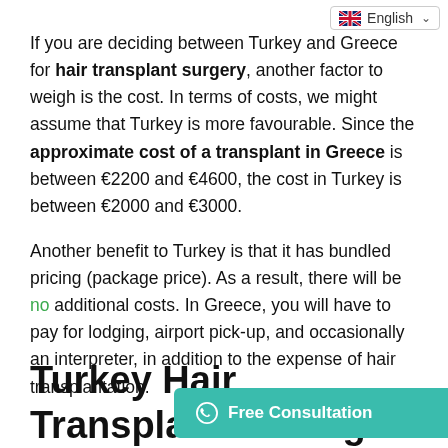[Figure (screenshot): English language selector dropdown with UK flag]
If you are deciding between Turkey and Greece for hair transplant surgery, another factor to weigh is the cost. In terms of costs, we might assume that Turkey is more favourable. Since the approximate cost of a transplant in Greece is between €2200 and €4600, the cost in Turkey is between €2000 and €3000.
Another benefit to Turkey is that it has bundled pricing (package price). As a result, there will be no additional costs. In Greece, you will have to pay for lodging, airport pick-up, and occasionally an interpreter, in addition to the expense of hair transplantation.
Turkey Hair Transplant Package